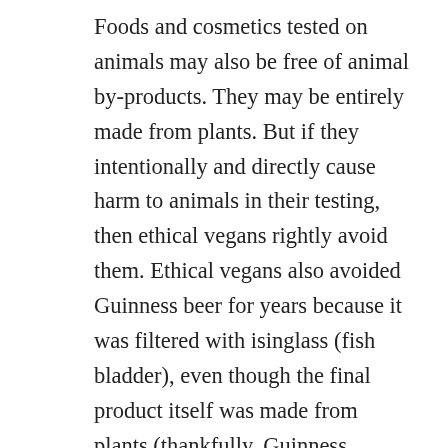Foods and cosmetics tested on animals may also be free of animal by-products. They may be entirely made from plants. But if they intentionally and directly cause harm to animals in their testing, then ethical vegans rightly avoid them. Ethical vegans also avoided Guinness beer for years because it was filtered with isinglass (fish bladder), even though the final product itself was made from plants (thankfully, Guinness eliminated the isinglass to create a truly vegan product. Cheers!). They continue to avoid wines filtered with isinglass. And they avoid refined sugar if it is filtered with bone char, as some refined sugars are, even though the bone char—a slaughterhouse by-product—doesn't make it into the final product. So why the double standard for foods pollinated by migratory bees?
Of course, eating avocados but avoiding honey and